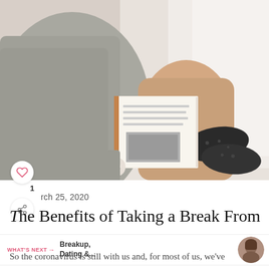[Figure (photo): Person in grey sweater sitting on bed, holding a cup of coffee and reading a book, wearing black socks, viewed from above]
1
March 25, 2020
The Benefits of Taking a Break From
WHAT'S NEXT → Breakup, Dating &...
So the coronavirus is still with us and, for most of us, we've